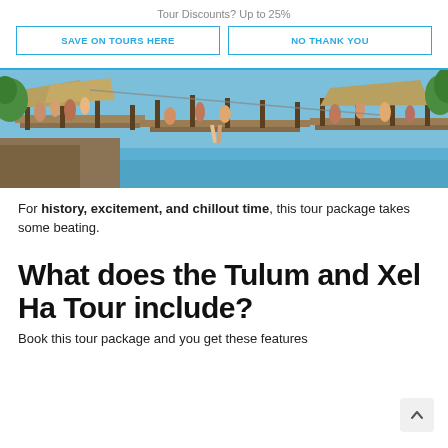Tour Discounts? Up to 25%
SAVE ON TOURS HERE
NO THANK YOU
[Figure (photo): People on wooden platform/dock structures over water at what appears to be Xel Ha water park, with thatched roofs and tropical scenery]
For history, excitement, and chillout time, this tour package takes some beating.
What does the Tulum and Xel Ha Tour include?
Book this tour package and you get these features